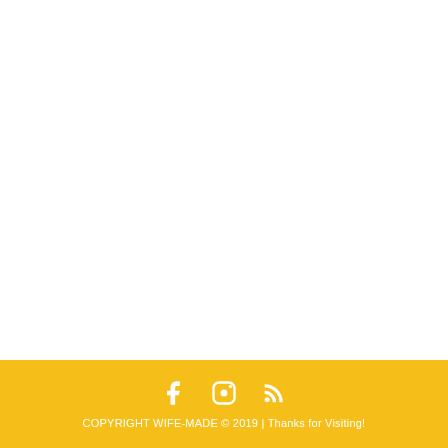COPYRIGHT WIFE-MADE © 2019 | Thanks for Visiting!